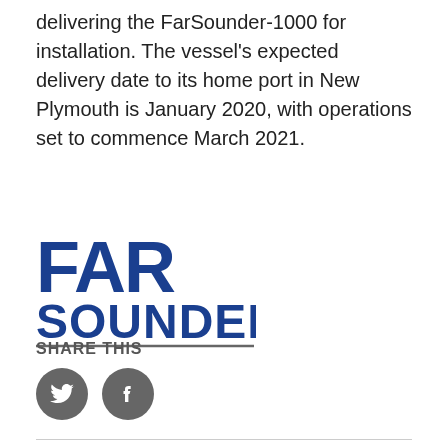delivering the FarSounder-1000 for installation. The vessel's expected delivery date to its home port in New Plymouth is January 2020, with operations set to commence March 2021.
[Figure (logo): FarSounder logo: bold blue letters 'FAR' on top and 'SOUNDER' below, with a horizontal rule underneath]
SHARE THIS
[Figure (illustration): Twitter bird icon in a dark grey circle]
[Figure (illustration): Facebook 'f' icon in a dark grey circle]